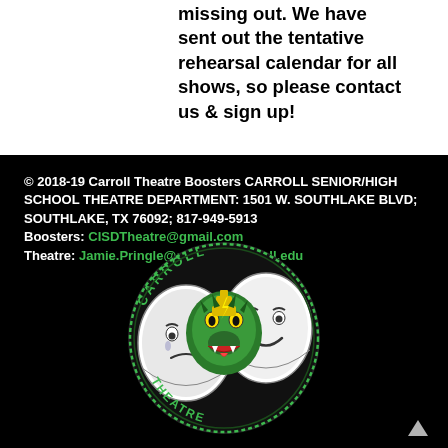missing out. We have sent out the tentative rehearsal calendar for all shows, so please contact us & sign up!
© 2018-19 Carroll Theatre Boosters CARROLL SENIOR/HIGH SCHOOL THEATRE DEPARTMENT: 1501 W. SOUTHLAKE BLVD; SOUTHLAKE, TX 76092; 817-949-5913 Boosters: CISDTheatre@gmail.com Theatre: Jamie.Pringle@southlakecarroll.edu
[Figure (logo): Carroll Theatre logo featuring comedy and tragedy masks with a dragon in the center, surrounded by a circular banner reading 'CARROLL THEATRE']